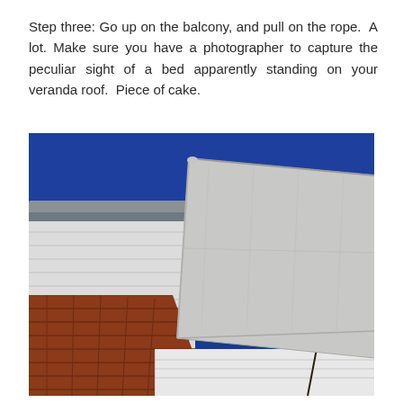Step three: Go up on the balcony, and pull on the rope. A lot. Make sure you have a photographer to capture the peculiar sight of a bed apparently standing on your veranda roof. Piece of cake.
[Figure (photo): Outdoor photograph showing a white mattress or bed base standing upright on what appears to be a veranda or porch roof, against a deep blue sky. To the left is a white-sided house wall with a gutter, and a red tiled roof is visible in the lower left. Bare tree branches are visible in the lower right background.]